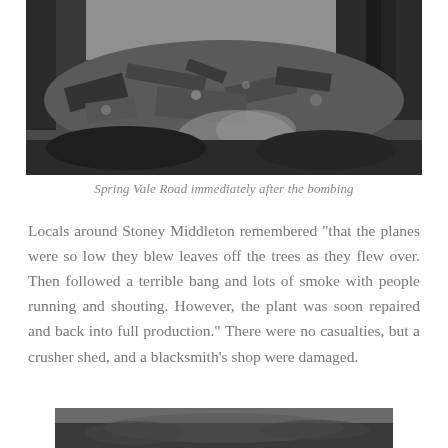[Figure (photo): Black and white photograph of Spring Vale Road immediately after a bombing, showing debris, rubble, and destruction scattered across the road and surrounding area with trees visible in the background.]
Spring Vale Road immediately after the bombing
Locals around Stoney Middleton remembered “that the planes were so low they blew leaves off the trees as they flew over. Then followed a terrible bang and lots of smoke with people running and shouting. However, the plant was soon repaired and back into full production.” There were no casualties, but a crusher shed, and a blacksmith’s shop were damaged.
[Figure (photo): Partial black and white photograph visible at the bottom of the page, showing an unclear scene, possibly related to the bombing aftermath.]